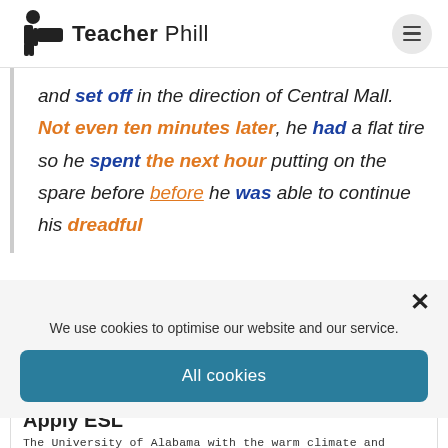Teacher Phill
and set off in the direction of Central Mall. Not even ten minutes later, he had a flat tire so he spent the next hour putting on the spare before he was able to continue his dreadful
We use cookies to optimise our website and our service.
All cookies
Apply ESL
The University of Alabama with the warm climate and friendly people of Tuscaloosa
applyesl.com
Learn More